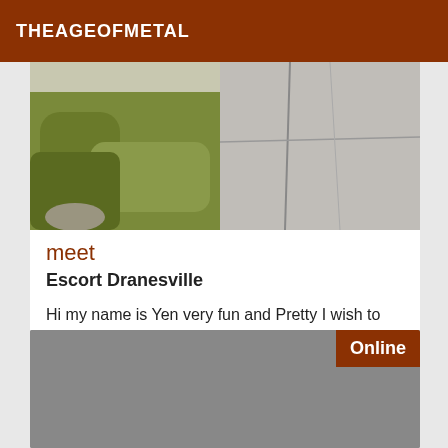THEAGEOFMETAL
[Figure (photo): Outdoor photo showing green moss or shrubs and grey stone pavement/concrete slabs with cracks]
meet
Escort Dranesville
Hi my name is Yen very fun and Pretty I wish to meet serious men wishing to make discreet and at the same time very enjoyable encounters. I am a strong young woman with curves in place.
[Figure (photo): Grey placeholder image with Online badge in top right corner]